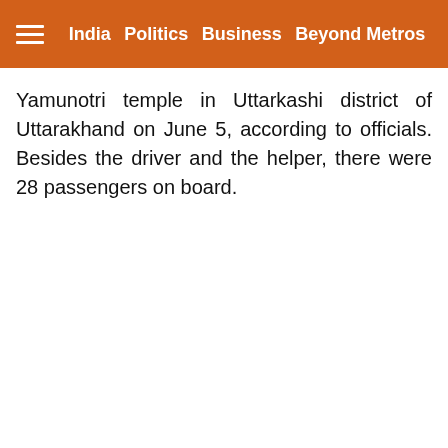≡  India  Politics  Business  Beyond Metros
Yamunotri temple in Uttarkashi district of Uttarakhand on June 5, according to officials. Besides the driver and the helper, there were 28 passengers on board.